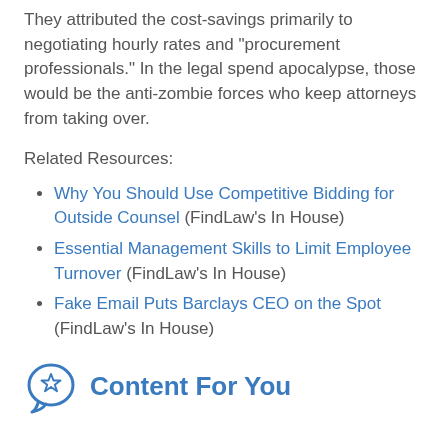They attributed the cost-savings primarily to negotiating hourly rates and "procurement professionals." In the legal spend apocalypse, those would be the anti-zombie forces who keep attorneys from taking over.
Related Resources:
Why You Should Use Competitive Bidding for Outside Counsel (FindLaw's In House)
Essential Management Skills to Limit Employee Turnover (FindLaw's In House)
Fake Email Puts Barclays CEO on the Spot (FindLaw's In House)
Content For You